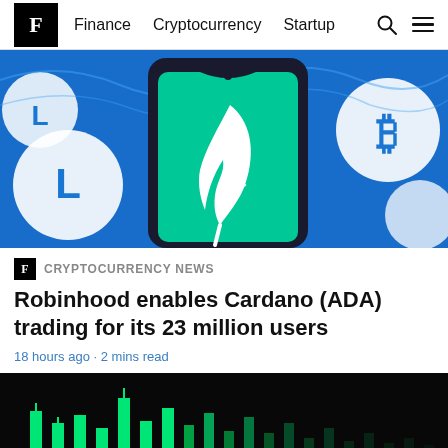F  Finance  Cryptocurrency  Startup
[Figure (photo): Smartphone displaying the Robinhood app (green feather logo on green screen) surrounded by cryptocurrency coin logos including Litecoin and Bitcoin on a blue digital background]
CRYPTOCURRENCY NEWS
Robinhood enables Cardano (ADA) trading for its 23 million users
18 hours ago · 2 mins read
[Figure (photo): Dark background with green candlestick chart bars partially visible at the bottom of the page]